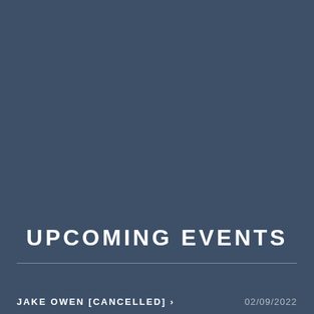UPCOMING EVENTS
JAKE OWEN [CANCELLED] > 02/09/2022